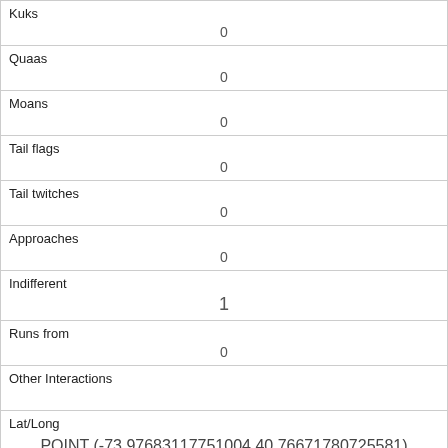| Kuks | 0 |
| Quaas | 0 |
| Moans | 0 |
| Tail flags | 0 |
| Tail twitches | 0 |
| Approaches | 0 |
| Indifferent | 1 |
| Runs from | 0 |
| Other Interactions |  |
| Lat/Long | POINT (-73.97683117751004 40.76671780725581) |